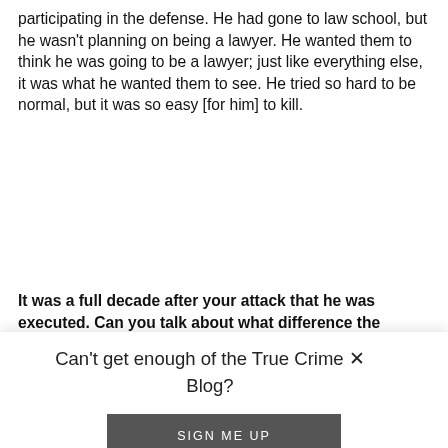participating in the defense. He had gone to law school, but he wasn't planning on being a lawyer. He wanted them to think he was going to be a lawyer; just like everything else, it was what he wanted them to see. He tried so hard to be normal, but it was so easy [for him] to kill.
It was a full decade after your attack that he was executed. Can you talk about what difference the execution made?
Can't get enough of the True Crime Blog?
SIGN ME UP